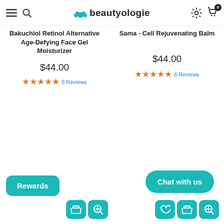beautyologie
Bakuchiol Retinol Alternative Age-Defying Face Gel Moisturizer
$44.00
6 Reviews
Sama - Cell Rejuvenating Balm
$44.00
6 Reviews
Rewards
Chat with us